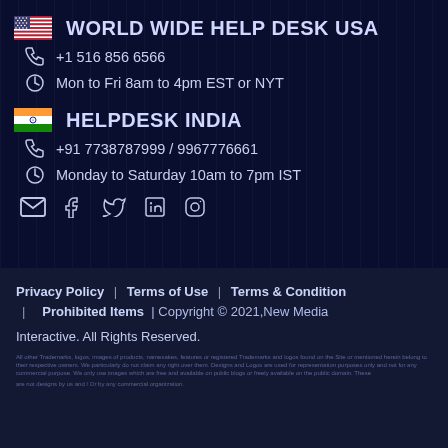WORLD WIDE HELP DESK USA
+1 516 856 6566
Mon to Fri 8am to 4pm EST or NYT
HELPDESK INDIA
+91 7738787999 / 9967776661
Monday to Saturday 10am to 7pm IST
Social media icons: email, facebook, twitter, linkedin, instagram
Privacy Policy | Terms of Use | Terms & Condition | Prohibited Items | Copyright © 2021,New Media Interactive. All Rights Reserved.
All other Trademarks, logos, images of products, namesakes, features or registered Trademarks and logos found on the Site or mentioned herein belong to their respective owners. We particularly do not claim any right over them. Designs and Logos are used for representation purposes only and not for any commercial purpose. We only use images which are free and available on public blogs or freely available on the public domain. These are not designs by us and / Or by any commercial organization.